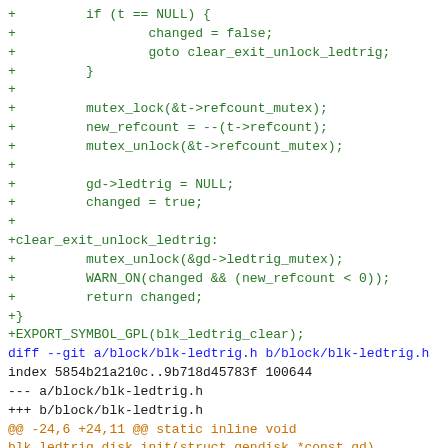[Figure (screenshot): Code diff showing git patch for blk-ledtrig.c and blk-ledtrig.h files with green added lines, blue diff headers, and orange hunk headers]